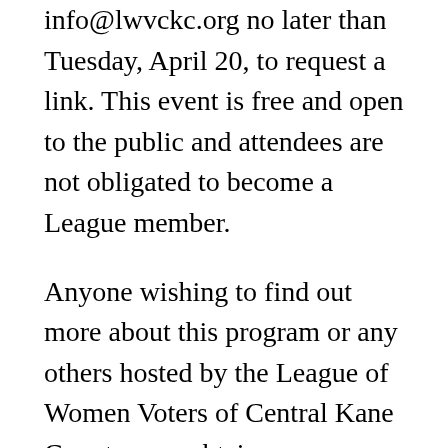info@lwvckc.org no later than Tuesday, April 20, to request a link. This event is free and open to the public and attendees are not obligated to become a League member.
Anyone wishing to find out more about this program or any others hosted by the League of Women Voters of Central Kane County may obtain more information by emailing info@lwvckc.org.
The League of Women Voters is a nonpartisan political organization that encourages informed and active participation in government, works to increase understanding of major public policy issues, and influences public policy through